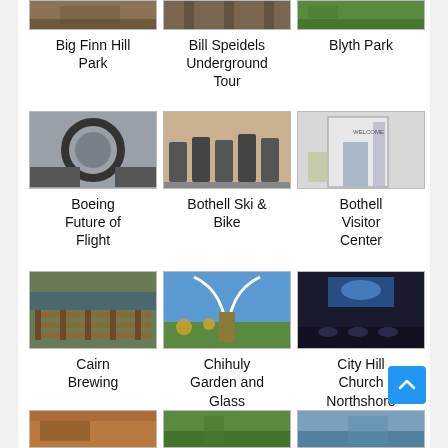[Figure (photo): Big Finn Hill Park photo (partial, top of page)]
Big Finn Hill Park
[Figure (photo): Bill Speidels Underground Tour photo (partial, top of page)]
Bill Speidels Underground Tour
[Figure (photo): Blyth Park photo (partial, top of page)]
Blyth Park
[Figure (photo): Boeing Future of Flight interior photo]
Boeing Future of Flight
[Figure (photo): Bothell Ski & Bike shop photo]
Bothell Ski & Bike
[Figure (photo): Bothell Visitor Center entrance photo]
Bothell Visitor Center
[Figure (photo): Cairn Brewing interior photo]
Cairn Brewing
[Figure (photo): Chihuly Garden and Glass outdoor photo]
Chihuly Garden and Glass
[Figure (photo): City Hill Church Northshore event photo]
City Hill Church Northshore
[Figure (photo): Bottom row item 1 (partial)]
[Figure (photo): Bottom row item 2 (partial)]
[Figure (photo): Bottom row item 3 (partial)]